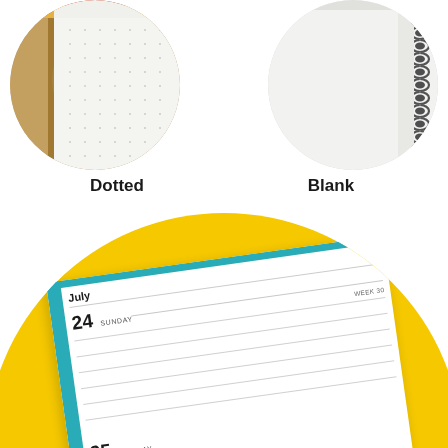[Figure (photo): Close-up circular photo of a dotted notebook page showing dot grid pattern with a faint spine fold.]
[Figure (photo): Close-up circular photo of a blank notebook page with a spiral/coil binding visible on the right side.]
Dotted
Blank
[Figure (photo): Large circular close-up of a weekly planner/diary open to July 24 (Sunday, Week 30) and July 25 (Monday), showing yellow cover, teal spine strip, and lined writing pages.]